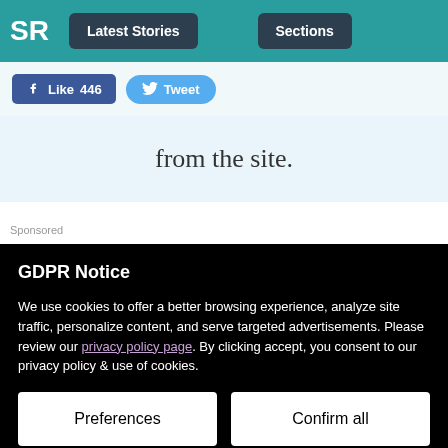SR | Latest Stories | Sections
[Figure (screenshot): Social media buttons: Like 446 and Tweet]
from the site.
Sponsored
GDPR Notice
We use cookies to offer a better browsing experience, analyze site traffic, personalize content, and serve targeted advertisements. Please review our privacy policy page. By clicking accept, you consent to our privacy policy & use of cookies.
Preferences | Confirm all